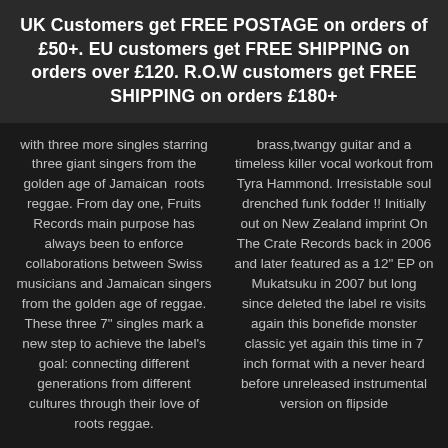UK Customers get FREE POSTAGE on orders of £50+. EU customers get FREE SHIPPING on orders over £120. R.O.W customers get FREE SHIPPING on orders £180+
with three more singles starring three giant singers from the golden age of Jamaican  roots reggae. From day one, Fruits Records main purpose has always been to enforce collaborations between Swiss musicians and Jamaican singers from the golden age of reggae. These three 7" singles mark a new step to achieve the label's goal: connecting different generations from different cultures through their love of roots reggae.
brass,twangy guitar and a timeless killer vocal workout from Tyra Hammond. Irresistable soul drenched funk fodder !! Initially out on New Zealand imprint On The Crate Records back in 2006 and later featured as a 12" EP on Mukatsuku in 2007 but long since deleted the label re visits again this bonefide monster classic yet again this time in 7 inch format with a never heard before unreleased instrumental version on flipside